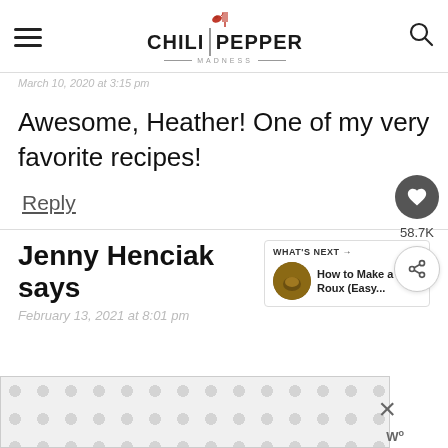CHILI PEPPER MADNESS
March 10, 2020 at 3:15 pm
Awesome, Heather! One of my very favorite recipes!
Reply
58.7K
Jenny Henciak says
February 13, 2021 at 8:01 pm
WHAT'S NEXT → How to Make a Roux (Easy...